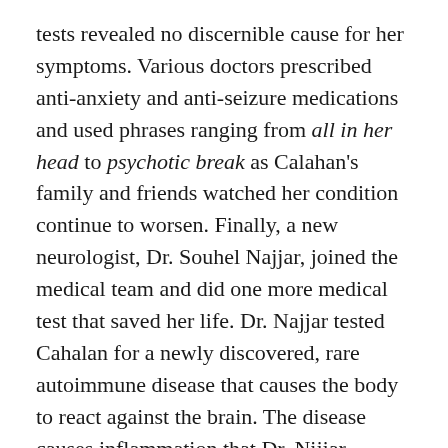tests revealed no discernible cause for her symptoms. Various doctors prescribed anti-anxiety and anti-seizure medications and used phrases ranging from all in her head to psychotic break as Calahan's family and friends watched her condition continue to worsen. Finally, a new neurologist, Dr. Souhel Najjar, joined the medical team and did one more medical test that saved her life. Dr. Najjar tested Cahalan for a newly discovered, rare autoimmune disease that causes the body to react against the brain. The disease causes inflammation that Dr. Nijjar explained this way: “Her brain is on fire.”
This book differs from most memoirs in that Cahalan has almost no memories of what